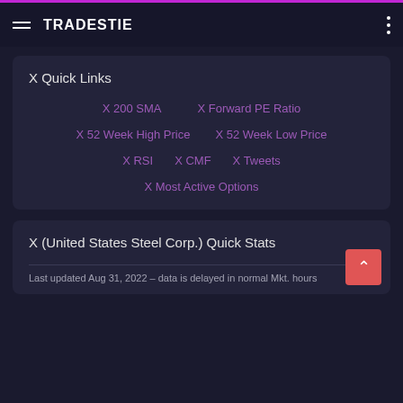TRADESTIE
X Quick Links
X 200 SMA
X Forward PE Ratio
X 52 Week High Price
X 52 Week Low Price
X RSI
X CMF
X Tweets
X Most Active Options
X (United States Steel Corp.) Quick Stats
Last updated Aug 31, 2022 - data is delayed in normal Mkt. hours